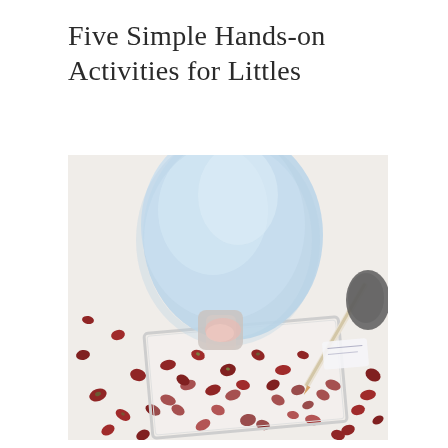Five Simple Hands-on Activities for Littles
[Figure (photo): Overhead view of a child in light blue clothing standing in a tray filled with red kidney beans scattered on a white surface, with a pencil or stick visible to the right.]